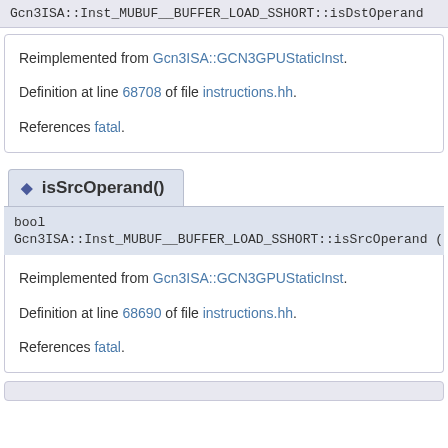Gcn3ISA::Inst_MUBUF__BUFFER_LOAD_SSHORT::isDstOperand
Reimplemented from Gcn3ISA::GCN3GPUStaticInst.
Definition at line 68708 of file instructions.hh.
References fatal.
◆ isSrcOperand()
bool Gcn3ISA::Inst_MUBUF__BUFFER_LOAD_SSHORT::isSrcOperand (
Reimplemented from Gcn3ISA::GCN3GPUStaticInst.
Definition at line 68690 of file instructions.hh.
References fatal.